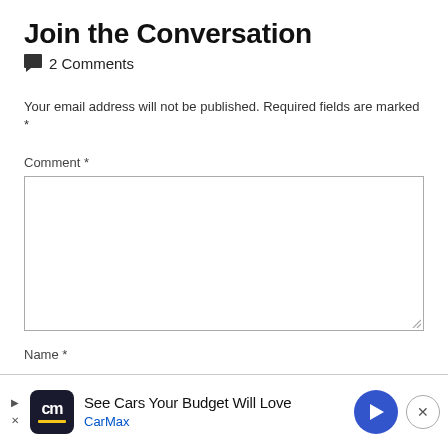Join the Conversation
2 Comments
Your email address will not be published. Required fields are marked *
Comment *
Name *
[Figure (screenshot): CarMax advertisement banner at bottom of page with logo, text 'See Cars Your Budget Will Love', 'CarMax' link, navigation arrow icon, and close button]